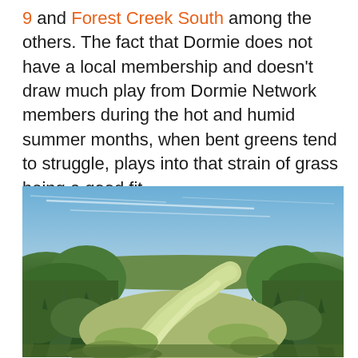9 and Forest Creek South among the others. The fact that Dormie does not have a local membership and doesn't draw much play from Dormie Network members during the hot and humid summer months, when bent greens tend to struggle, plays into that strain of grass being a good fit.
[Figure (photo): Aerial landscape photograph of a golf course fairway winding through dense pine and deciduous trees under a blue sky with light cloud streaks.]